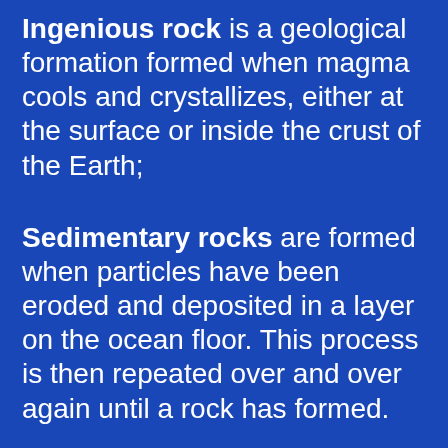Ingenious rock is a geological formation formed when magma cools and crystallizes, either at the surface or inside the crust of the Earth;
Sedimentary rocks are formed when particles have been eroded and deposited in a layer on the ocean floor. This process is then repeated over and over again until a rock has formed.
Metamorphic rocks result from changes to an existing rock in terms of temperature